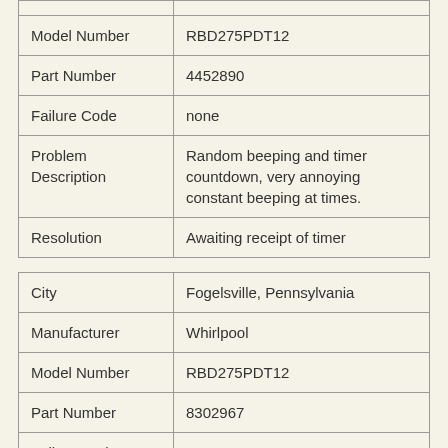| Model Number | RBD275PDT12 |
| Part Number | 4452890 |
| Failure Code | none |
| Problem Description | Random beeping and timer countdown, very annoying constant beeping at times. |
| Resolution | Awaiting receipt of timer |
| City | Fogelsville, Pennsylvania |
| Manufacturer | Whirlpool |
| Model Number | RBD275PDT12 |
| Part Number | 8302967 |
| Failure Code | E1 F2 |